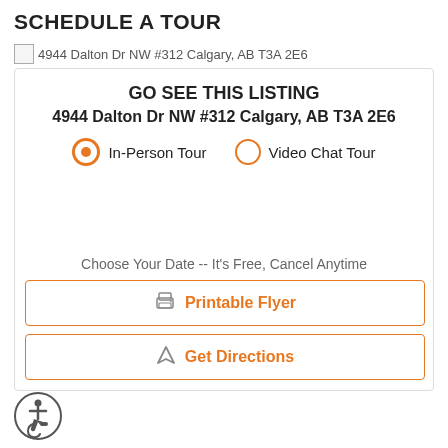SCHEDULE A TOUR
[Figure (other): Broken image placeholder for 4944 Dalton Dr NW #312 Calgary, AB T3A 2E6]
GO SEE THIS LISTING
4944 Dalton Dr NW #312 Calgary, AB T3A 2E6
In-Person Tour (selected) | Video Chat Tour
Choose Your Date -- It's Free, Cancel Anytime
Printable Flyer
Get Directions
[Figure (other): Accessibility icon badge (person in wheelchair)]